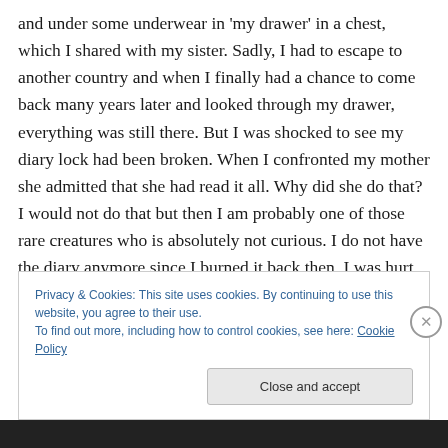and under some underwear in 'my drawer' in a chest, which I shared with my sister. Sadly, I had to escape to another country and when I finally had a chance to come back many years later and looked through my drawer, everything was still there. But I was shocked to see my diary lock had been broken. When I confronted my mother she admitted that she had read it all. Why did she do that? I would not do that but then I am probably one of those rare creatures who is absolutely not curious. I do not have the diary anymore since I burned it back then. I was hurt and angry. It tainted the relationship with my mother for the
Privacy & Cookies: This site uses cookies. By continuing to use this website, you agree to their use.
To find out more, including how to control cookies, see here: Cookie Policy
Close and accept